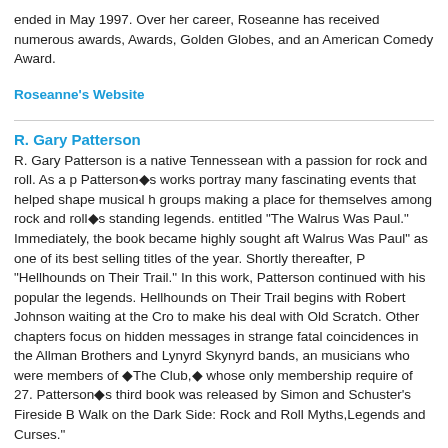ended in May 1997. Over her career, Roseanne has received numerous awards, Awards, Golden Globes, and an American Comedy Award.
Roseanne's Website
R. Gary Patterson
R. Gary Patterson is a native Tennessean with a passion for rock and roll. As a p Patterson's works portray many fascinating events that helped shape musical h groups making a place for themselves among rock and roll's standing legends. entitled "The Walrus Was Paul." Immediately, the book became highly sought aft Walrus Was Paul" as one of its best selling titles of the year. Shortly thereafter, P "Hellhounds on Their Trail." In this work, Patterson continued with his popular the legends. Hellhounds on Their Trail begins with Robert Johnson waiting at the Cro to make his deal with Old Scratch. Other chapters focus on hidden messages in strange fatal coincidences in the Allman Brothers and Lynyrd Skynyrd bands, an musicians who were members of The Club, whose only membership require of 27. Patterson's third book was released by Simon and Schuster's Fireside B Walk on the Dark Side: Rock and Roll Myths,Legends and Curses."
R. Gary's Website
Cathy O'Brien
Cathy O'Brien is a fully rehabilitated United States Government White House A testimony for the US Congressional Permanent Select Committee on Intelligence "reasons of national security". Upon the advice of an attorney in 1995, this testim aptly entitled TRANCE Formation of America, to bring truth to light and surviv